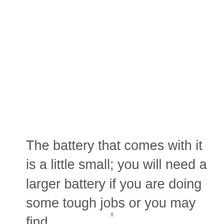The battery that comes with it is a little small; you will need a larger battery if you are doing some tough jobs or you may find
x